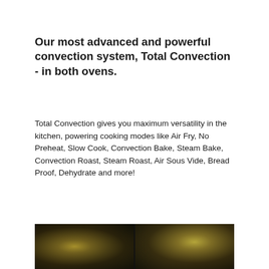Our most advanced and powerful convection system, Total Convection - in both ovens.
Total Convection gives you maximum versatility in the kitchen, powering cooking modes like Air Fry, No Preheat, Slow Cook, Convection Bake, Steam Bake, Convection Roast, Steam Roast, Air Sous Vide, Bread Proof, Dehydrate and more!
[Figure (other): A red-bordered rounded rectangle button labeled 'Watch Video' and a grey rounded square scroll-to-top button with an upward chevron arrow]
[Figure (photo): Dark food photography image showing cooked food items in an oven, split into two panels]